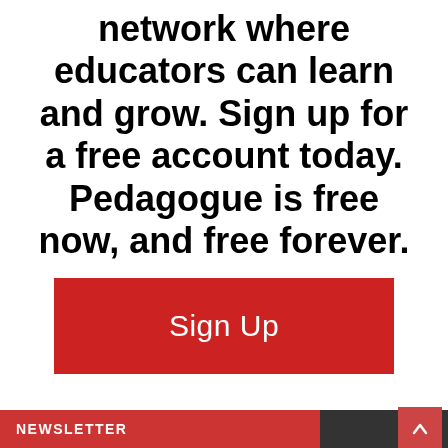network where educators can learn and grow. Sign up for a free account today. Pedagogue is free now, and free forever.
[Figure (other): Red 'Sign Up' button]
NEWSLETTER